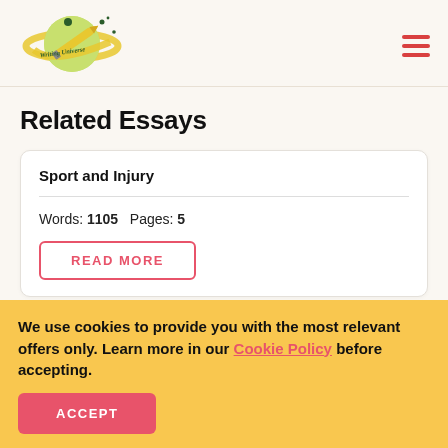[Figure (logo): Writing Universe logo — planet with pencil and stars]
Related Essays
Sport and Injury
Words: 1105  Pages: 5
READ MORE
We use cookies to provide you with the most relevant offers only. Learn more in our Cookie Policy before accepting.
ACCEPT